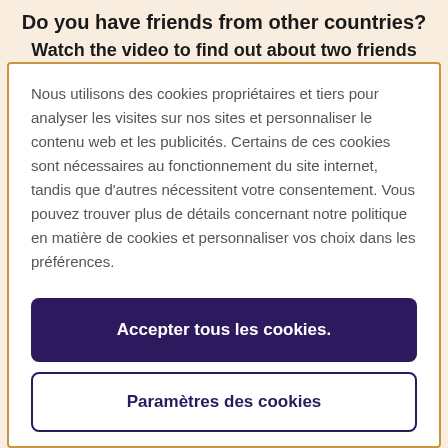Do you have friends from other countries?
Watch the video to find out about two friends
Nous utilisons des cookies propriétaires et tiers pour analyser les visites sur nos sites et personnaliser le contenu web et les publicités. Certains de ces cookies sont nécessaires au fonctionnement du site internet, tandis que d'autres nécessitent votre consentement. Vous pouvez trouver plus de détails concernant notre politique en matière de cookies et personnaliser vos choix dans les préférences.
Accepter tous les cookies.
Paramètres des cookies